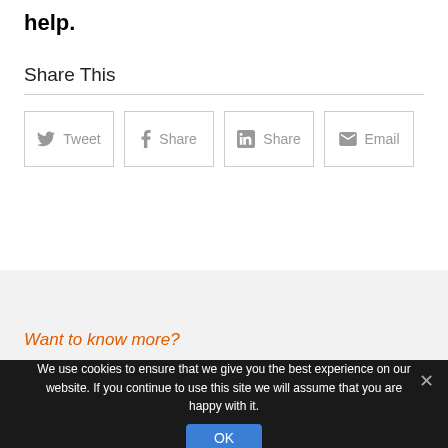help.
Share This
[Figure (screenshot): Row of four social sharing buttons: Tweet (Twitter), Share (Facebook), Share (LinkedIn), Email]
Want to know more?
We use cookies to ensure that we give you the best experience on our website. If you continue to use this site we will assume that you are happy with it.